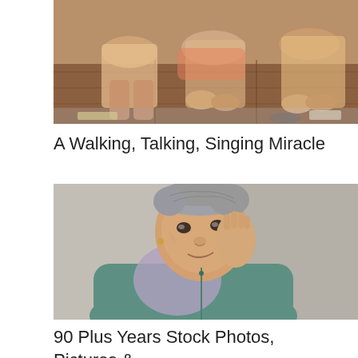[Figure (photo): Partial view of people sitting on a plaid/checkered brown sofa, hands and lower bodies visible]
A Walking, Talking, Singing Miracle
[Figure (photo): Close-up portrait of an elderly woman with gray hair pulled back, resting her cheek on her hand, wearing a teal zip-up jacket with a lavender vest/shawl, smiling gently against a textured gray wall]
90 Plus Years Stock Photos, Pictures & Royalty